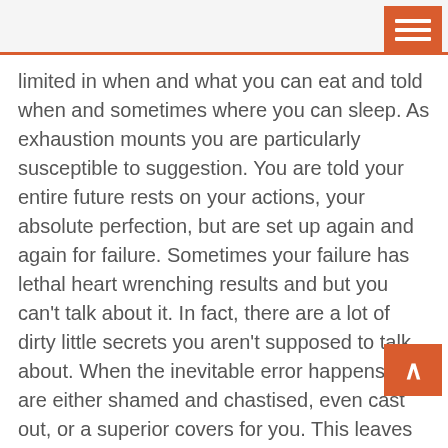limited in when and what you can eat and told when and sometimes where you can sleep. As exhaustion mounts you are particularly susceptible to suggestion. You are told your entire future rests on your actions, your absolute perfection, but are set up again and again for failure. Sometimes your failure has lethal heart wrenching results and but you can't talk about it. In fact, there are a lot of dirty little secrets you aren't supposed to talk about. When the inevitable error happens you are either shamed and chastised, even cast out, or a superior covers for you. This leaves you feeling pitifully grateful, yet knowing your mutual silence is another cost of being in the cult, or profession, as the case may be.
Medical school graduates hope that once they're